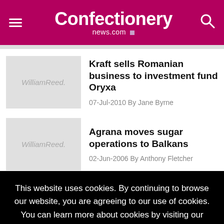Confectionery news.com
Kraft sells Romanian business to investment fund Oryxa
07-Jul-2010 By Jane Byrne
Agrana moves sugar operations to Balkans
02-Jun-2006 By Anthony Fletcher
This website uses cookies. By continuing to browse our website, you are agreeing to our use of cookies. You can learn more about cookies by visiting our privacy & cookies policy page.